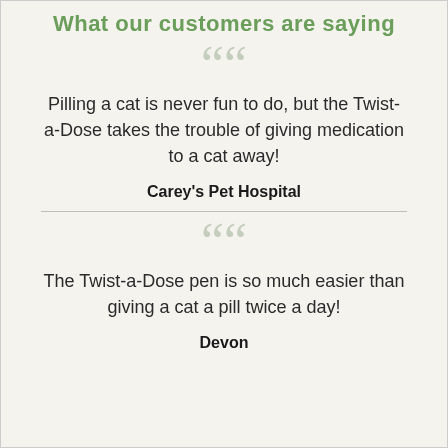What our customers are saying
Pilling a cat is never fun to do, but the Twist-a-Dose takes the trouble of giving medication to a cat away!
Carey's Pet Hospital
The Twist-a-Dose pen is so much easier than giving a cat a pill twice a day!
Devon